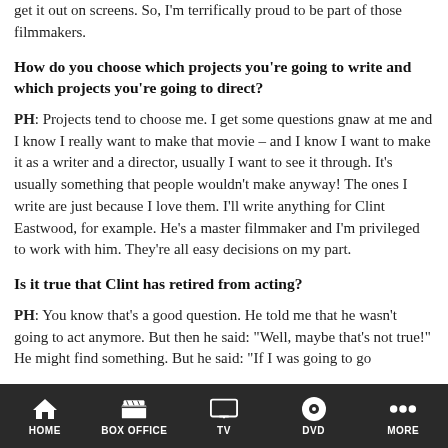get it out on screens. So, I'm terrifically proud to be part of those filmmakers.
How do you choose which projects you're going to write and which projects you're going to direct?
PH: Projects tend to choose me. I get some questions gnaw at me and I know I really want to make that movie – and I know I want to make it as a writer and a director, usually I want to see it through. It's usually something that people wouldn't make anyway! The ones I write are just because I love them. I'll write anything for Clint Eastwood, for example. He's a master filmmaker and I'm privileged to work with him. They're all easy decisions on my part.
Is it true that Clint has retired from acting?
PH: You know that's a good question. He told me that he wasn't going to act anymore. But then he said: "Well, maybe that's not true!" He might find something. But he said: "If I was going to go
HOME  BOX OFFICE  TV  DVD  MORE